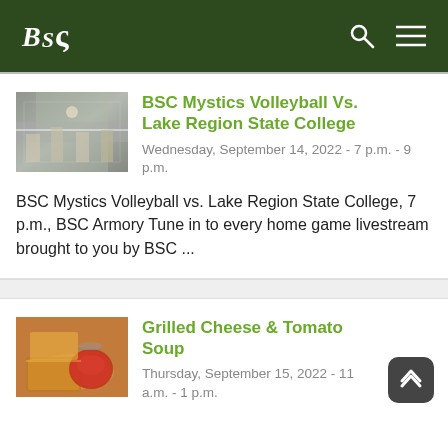BSC
[Figure (photo): Volleyball game action photo showing players at court]
BSC Mystics Volleyball Vs. Lake Region State College
Wednesday, September 14, 2022 - 7 p.m. - 9 p.m.
BSC Mystics Volleyball vs. Lake Region State College, 7 p.m., BSC Armory Tune in to every home game livestream brought to you by BSC ...
[Figure (photo): Grilled cheese sandwich and tomato soup food photo]
Grilled Cheese & Tomato Soup
Thursday, September 15, 2022 - 11 a.m. - 1 p.m.